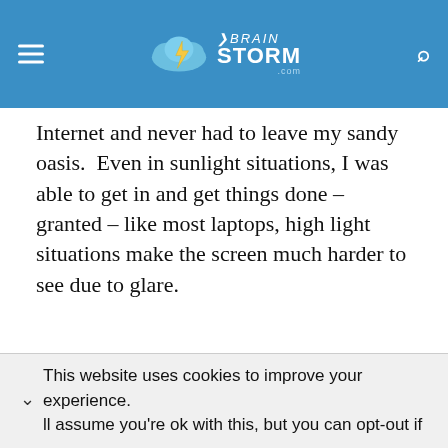vBrainStorm.com
Internet and never had to leave my sandy oasis.  Even in sunlight situations, I was able to get in and get things done – granted – like most laptops, high light situations make the screen much harder to see due to glare.
This website uses cookies to improve your experience. ll assume you're ok with this, but you can opt-out if